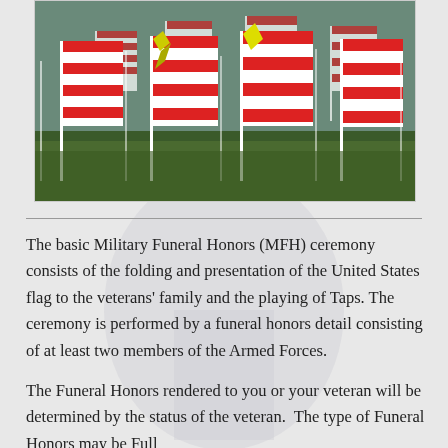[Figure (photo): Photograph of many small American flags planted in green grass on white poles, some with yellow ribbons, viewed from ground level with flags filling the entire frame.]
The basic Military Funeral Honors (MFH) ceremony consists of the folding and presentation of the United States flag to the veterans' family and the playing of Taps. The ceremony is performed by a funeral honors detail consisting of at least two members of the Armed Forces.
The Funeral Honors rendered to you or your veteran will be determined by the status of the veteran.  The type of Funeral Honors may be Full